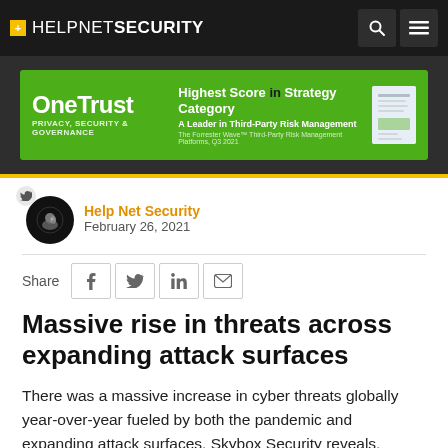+ HELPNETSECURITY
[Figure (other): OneTrust advertisement banner: Highest Score in Strategy Category – A Leader in Third-Party Risk Management]
Help Net Security
February 26, 2021
Share
Massive rise in threats across expanding attack surfaces
There was a massive increase in cyber threats globally year-over-year fueled by both the pandemic and expanding attack surfaces, Skybox Security reveals.